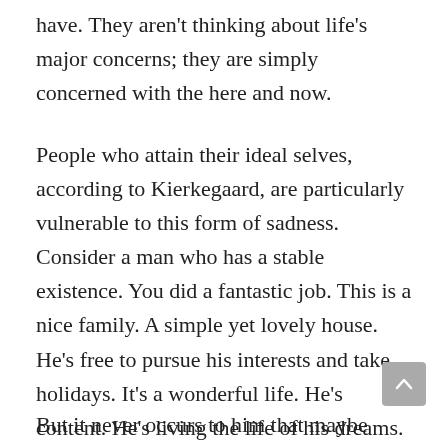have. They aren't thinking about life's major concerns; they are simply concerned with the here and now.
People who attain their ideal selves, according to Kierkegaard, are particularly vulnerable to this form of sadness. Consider a man who has a stable existence. You did a fantastic job. This is a nice family. A simple yet lovely house. He's free to pursue his interests and take holidays. It's a wonderful life. He's content. He's living the life of his dreams.
But it never occurs to him that maybe God, the